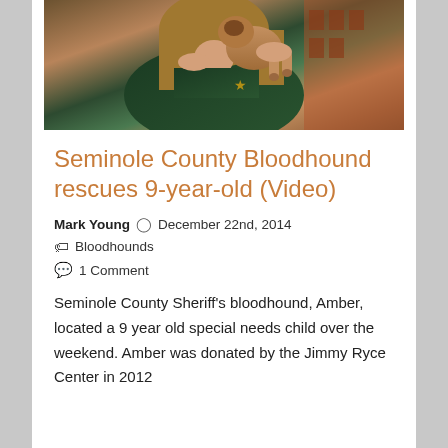[Figure (photo): A woman in a dark green uniform holds a brown bloodhound puppy over her shoulder, with a building visible in the background.]
Seminole County Bloodhound rescues 9-year-old (Video)
Mark Young  🕐 December 22nd, 2014
🏷 Bloodhounds
💬 1 Comment
Seminole County Sheriff's bloodhound, Amber, located a 9 year old special needs child over the weekend. Amber was donated by the Jimmy Ryce Center in 2012